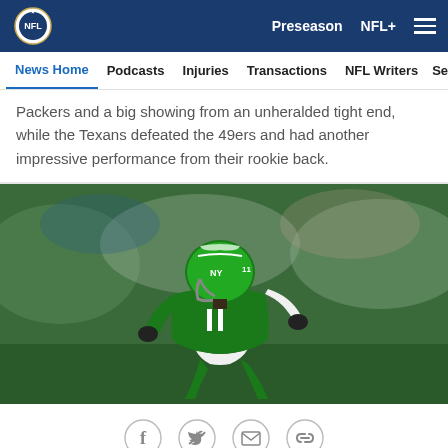NFL — Preseason  NFL+
News Home  Podcasts  Injuries  Transactions  NFL Writers  Se
Packers and a big showing from an unheralded tight end, while the Texans defeated the 49ers and had another impressive performance from their rookie back.
[Figure (photo): New York Jets player #11 in green uniform and helmet running during a preseason game]
[Figure (infographic): Social sharing icons: Facebook, Twitter, Email, Link/Copy]